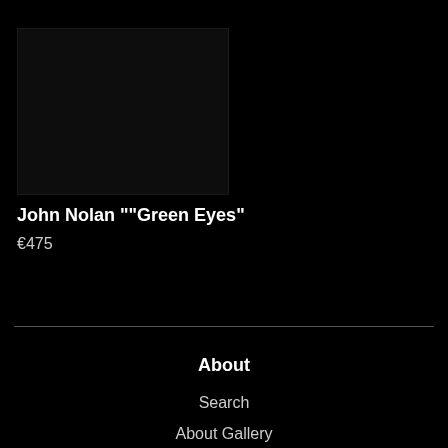[Figure (photo): Dark/black artwork image placeholder for John Nolan Green Eyes painting]
John Nolan ""Green Eyes"
€475
About
Search
About Gallery